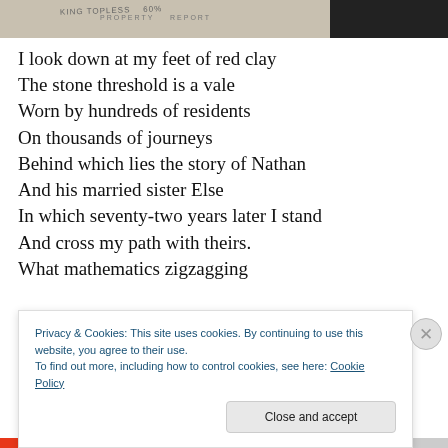[Figure (photo): Partial photograph strip at the top showing a handwritten or printed document/paper with faint text visible, dark background on the right.]
I look down at my feet of red clay
The stone threshold is a vale
Worn by hundreds of residents
On thousands of journeys
Behind which lies the story of Nathan
And his married sister Else
In which seventy-two years later I stand
And cross my path with theirs.
What mathematics zigzagging
Privacy & Cookies: This site uses cookies. By continuing to use this website, you agree to their use.
To find out more, including how to control cookies, see here: Cookie Policy
Close and accept